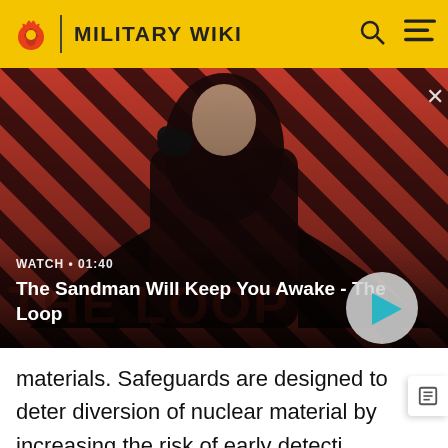MILITARY WIKI
[Figure (screenshot): Video thumbnail showing a dark-cloaked figure with a raven on their shoulder against a red and black diagonal striped background. Overlay text reads WATCH • 01:40 and title The Sandman Will Keep You Awake - The Loop, with a circular play button on the right.]
materials. Safeguards are designed to deter diversion of nuclear material by increasing the risk of early detecti They are complemented by controls on the export of sensitive technology from countries such as UK and United States through voluntary bodies such as the